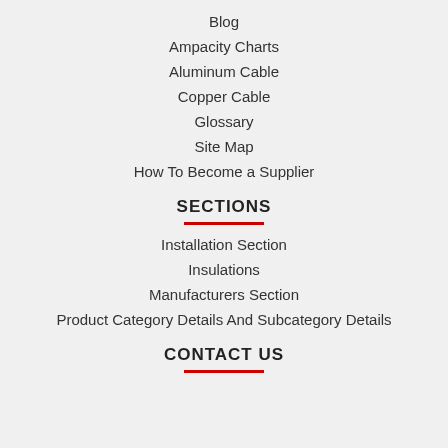Blog
Ampacity Charts
Aluminum Cable
Copper Cable
Glossary
Site Map
How To Become a Supplier
SECTIONS
Installation Section
Insulations
Manufacturers Section
Product Category Details And Subcategory Details
CONTACT US